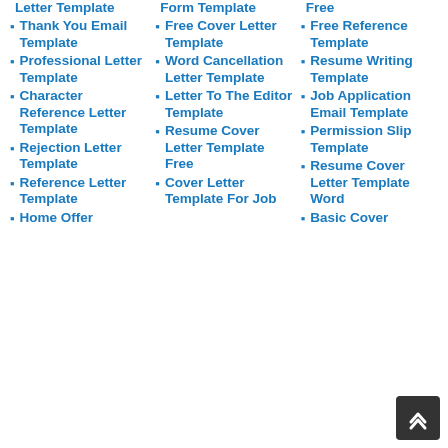Letter Template
Thank You Email Template
Professional Letter Template
Character Reference Letter Template
Rejection Letter Template
Reference Letter Template
Home Offer
Form Template
Free Cover Letter Template
Word Cancellation Letter Template
Letter To The Editor Template
Resume Cover Letter Template Free
Cover Letter Template For Job
Free
Free Reference Template
Resume Writing Template
Job Application Email Template
Permission Slip Template
Resume Cover Letter Template Word
Basic Cover